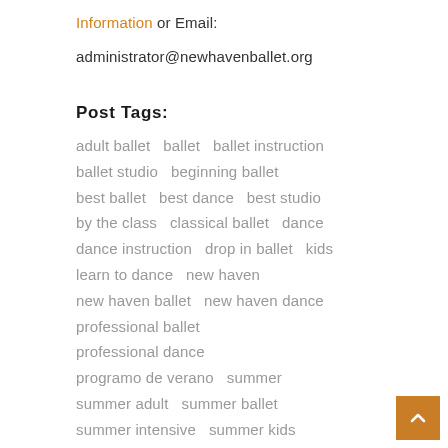Information or Email:
administrator@newhavenballet.org
Post Tags:
adult ballet  ballet  ballet instruction  ballet studio  beginning ballet  best ballet  best dance  best studio  by the class  classical ballet  dance  dance instruction  drop in ballet  kids  learn to dance  new haven  new haven ballet  new haven dance  professional ballet  professional dance  programo de verano  summer  summer adult  summer ballet  summer intensive  summer kids